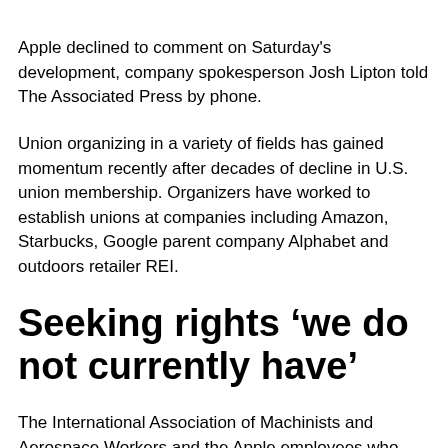Apple declined to comment on Saturday's development, company spokesperson Josh Lipton told The Associated Press by phone.
Union organizing in a variety of fields has gained momentum recently after decades of decline in U.S. union membership. Organizers have worked to establish unions at companies including Amazon, Starbucks, Google parent company Alphabet and outdoors retailer REI.
Seeking rights ‘we do not currently have’
The International Association of Machinists and Aerospace Workers and the Apple employees who wanted to join said